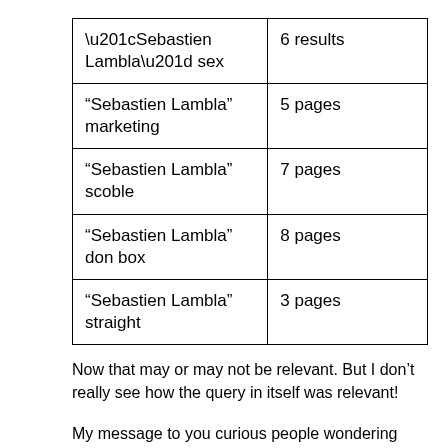| “Sebastien Lambla” sex | 6 results |
| “Sebastien Lambla” marketing | 5 pages |
| “Sebastien Lambla” scoble | 7 pages |
| “Sebastien Lambla” don box | 8 pages |
| “Sebastien Lambla” straight | 3 pages |
Now that may or may not be relevant. But I don’t really see how the query in itself was relevant!
My message to you curious people wondering about